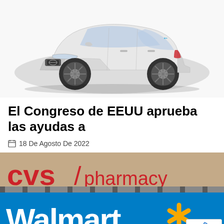[Figure (photo): Nissan LEAF electric car, silver/white color, front three-quarter view on white background]
El Congreso de EEUU aprueba las ayudas a
18 De Agosto De 2022
[Figure (photo): CVS/pharmacy sign (red text on beige background) above a Walmart sign (white text on blue background with yellow spark logo)]